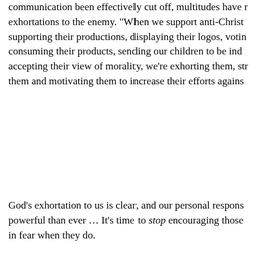communication been effectively cut off, multitudes have responded with exhortations to the enemy. "When we support anti-Christ... supporting their productions, displaying their logos, voti... consuming their products, sending our children to be ind... accepting their view of morality, we're exhorting them, st... them and motivating them to increase their efforts agains...
God's exhortation to us is clear, and our personal respons... powerful than ever … It's time to stop encouraging those ... in fear when they do.
"TWEETABLES" ~ Click to tweet and share from th... links directly back to this article throu...
"God calls us to do more than just talk. He designe... communication link that connects our heart, mind... whose resources in those areas are depleted." @Ga...